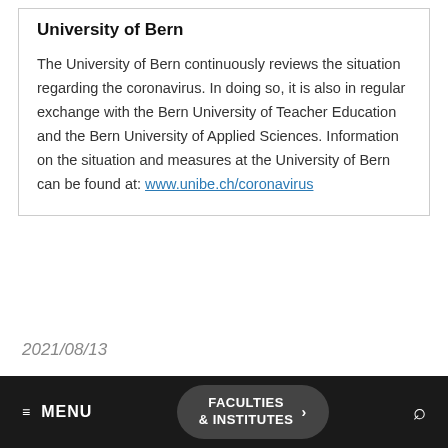University of Bern
The University of Bern continuously reviews the situation regarding the coronavirus. In doing so, it is also in regular exchange with the Bern University of Teacher Education and the Bern University of Applied Sciences. Information on the situation and measures at the University of Bern can be found at: www.unibe.ch/coronavirus
2021/08/13
≡ MENU   FACULTIES & INSTITUTES >   🔍